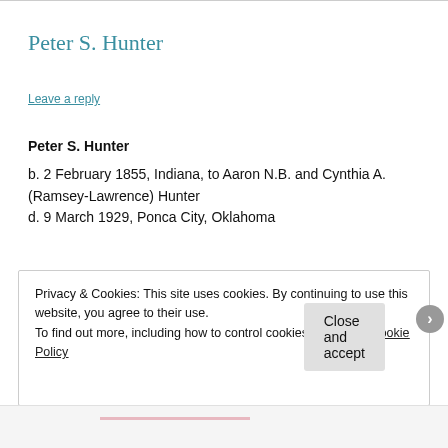Peter S. Hunter
Leave a reply
Peter S. Hunter
b. 2 February 1855, Indiana, to Aaron N.B. and Cynthia A. (Ramsey-Lawrence) Hunter
d. 9 March 1929, Ponca City, Oklahoma
Privacy & Cookies: This site uses cookies. By continuing to use this website, you agree to their use.
To find out more, including how to control cookies, see here: Cookie Policy
Close and accept